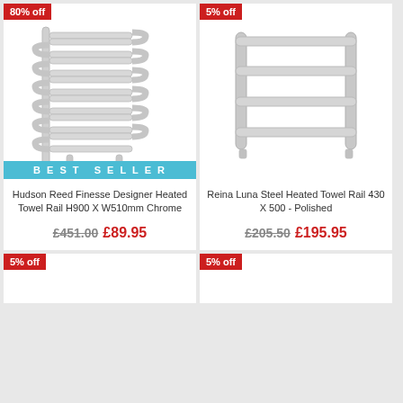[Figure (photo): Hudson Reed Finesse Designer Heated Towel Rail, chrome wavy/serpentine style, with BEST SELLER banner and 80% off badge]
Hudson Reed Finesse Designer Heated Towel Rail H900 X W510mm Chrome
£451.00 £89.95
[Figure (photo): Reina Luna Steel Heated Towel Rail 430 X 500 Polished, rectangular with horizontal bars, with 5% off badge]
Reina Luna Steel Heated Towel Rail 430 X 500 - Polished
£205.50 £195.95
[Figure (photo): Product card bottom left showing 5% off badge]
[Figure (photo): Product card bottom right showing 5% off badge]